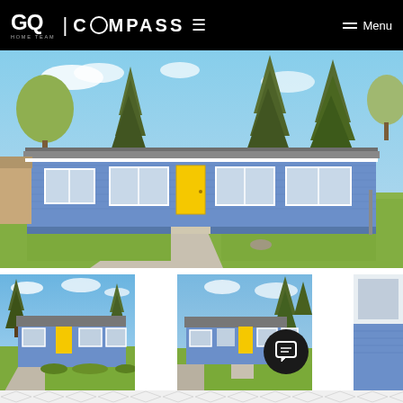GQ | COMPASS  Menu
[Figure (photo): Front exterior of a single-story blue ranch house with yellow front door, gray roof, green lawn, concrete driveway, surrounded by tall evergreen and deciduous trees]
[Figure (photo): Three thumbnail photos of the same blue ranch house from different exterior angles showing the front facade, driveway approach, and a partial interior window view]
[Figure (other): Dark circular chat/message button icon overlay on bottom right of thumbnails]